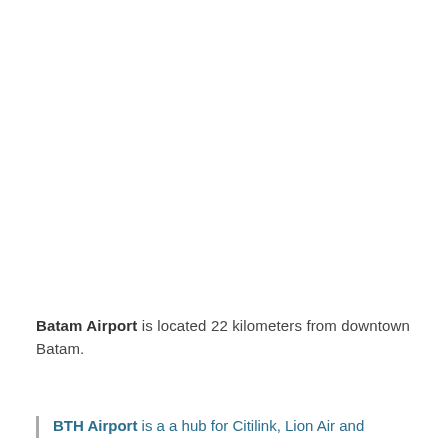Batam Airport is located 22 kilometers from downtown Batam.
BTH Airport is a a hub for Citilink, Lion Air and